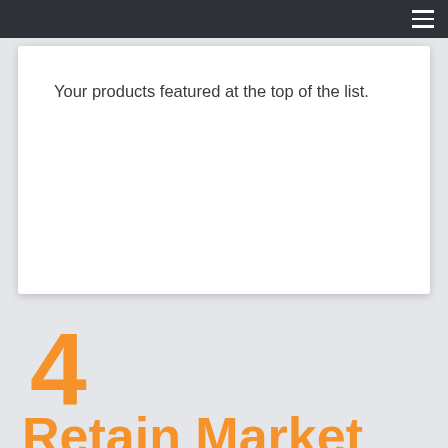Your products featured at the top of the list.
4
Retain Market